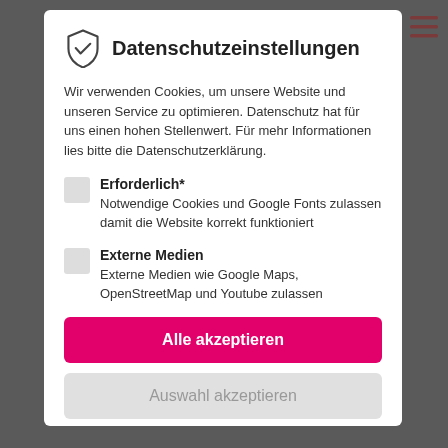Datenschutzeinstellungen
Wir verwenden Cookies, um unsere Website und unseren Service zu optimieren. Datenschutz hat für uns einen hohen Stellenwert. Für mehr Informationen lies bitte die Datenschutzerklärung.
Erforderlich* — Notwendige Cookies und Google Fonts zulassen damit die Website korrekt funktioniert
Externe Medien — Externe Medien wie Google Maps, OpenStreetMap und Youtube zulassen
Alle akzeptieren
Auswahl akzeptieren
Datenschutz   Impressum   Weitere Informationen